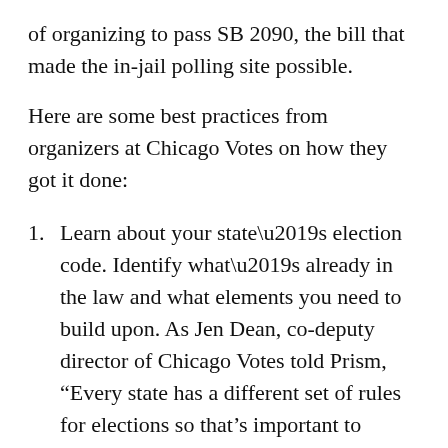of organizing to pass SB 2090, the bill that made the in-jail polling site possible.
Here are some best practices from organizers at Chicago Votes on how they got it done:
Learn about your state’s election code. Identify what’s already in the law and what elements you need to build upon. As Jen Dean, co-deputy director of Chicago Votes told Prism, “Every state has a different set of rules for elections so that’s important to understand first before you get into this work. Some states require IDs, some states do not.”